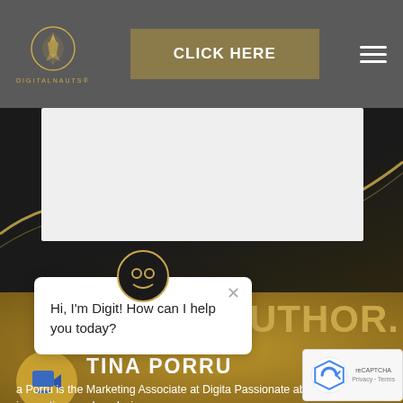[Figure (screenshot): Digitnauts website header with logo, CLICK HERE button, and hamburger menu on dark grey background]
[Figure (screenshot): Dark decorative band with gold curve design element]
[Figure (screenshot): Chatbot dialog bubble with avatar showing message: Hi, I'm Digit! How can I help you today?]
AUTHOR.
[Figure (photo): Circular author avatar icon with chat bubble symbol]
TINA PORRU
a Porru is the Marketing Associate at Digita Passionate about digital innovations and analysing
[Figure (other): reCAPTCHA badge with logo and Privacy - Terms text]